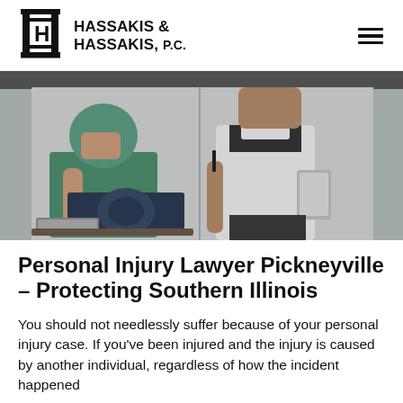HASSAKIS & HASSAKIS, P.C.
[Figure (photo): Two medical professionals, one in green scrubs holding an X-ray of a skull and appearing distressed, and another in a white lab coat holding a clipboard and a pen, standing in a clinical setting.]
Personal Injury Lawyer Pickneyville – Protecting Southern Illinois
You should not needlessly suffer because of your personal injury case. If you've been injured and the injury is caused by another individual, regardless of how the incident happened